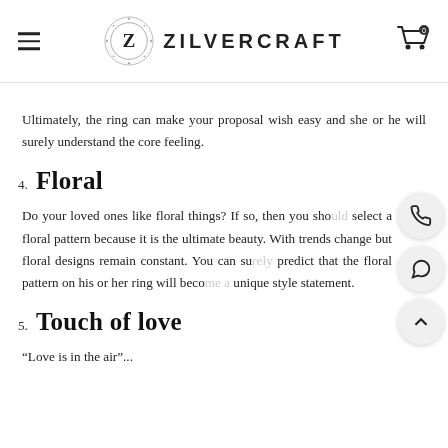ZILVERCRAFT
Ultimately, the ring can make your proposal wish easy and she or he will surely understand the core feeling.
4. Floral
Do your loved ones like floral things? If so, then you should select a floral pattern because it is the ultimate beauty. With trends change but floral designs remain constant. You can surely predict that the floral pattern on his or her ring will become a unique style statement.
5. Touch of love
"Love is in the air"...